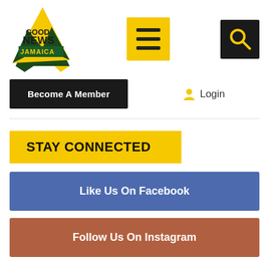[Figure (logo): Good News Jamaica logo - yellow triangle with dark green background, text GOOD NEWS JAMAICA]
[Figure (other): Yellow hamburger menu button with three black lines]
[Figure (other): Black search button with magnifying glass icon]
Become A Member
Login
STAY CONNECTED
Like Us On Facebook
Follow Us On Instagram